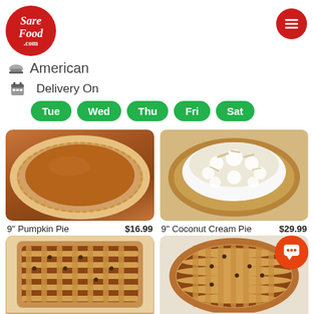[Figure (logo): SareFood.com logo — red circle with white italic text]
American
Delivery On
Tue  Wed  Thu  Fri  Sat
[Figure (photo): 9 inch pumpkin pie viewed from above with crimped crust edges]
[Figure (photo): 9 inch coconut cream pie viewed from above with whipped cream topping and toasted coconut]
9" Pumpkin Pie    $16.99    9" Coconut Cream Pie    $29.99
[Figure (photo): Square lattice-top pie with raisin or chocolate chip filling]
[Figure (photo): Round lattice-top pie with chocolate chip filling]